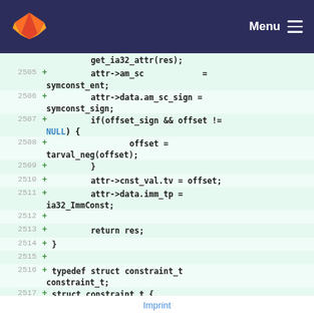[Figure (screenshot): GitLab navigation bar with fox logo and Menu hamburger icon on dark navy background]
get_ia32_attr(res);
2505 + attr->am_sc = symconst_ent;
2506 + attr->data.am_sc_sign = symconst_sign;
2507 + if(offset_sign && offset != NULL) {
2508 + offset = tarval_neg(offset);
2509 + }
2510 + attr->cnst_val.tv = offset;
2511 + attr->data.imm_tp = ia32_ImmConst;
2512 +
2513 + return res;
2514 + }
2515 +
2516 + typedef struct constraint_t constraint_t;
2517 + struct constraint_t {
Imprint